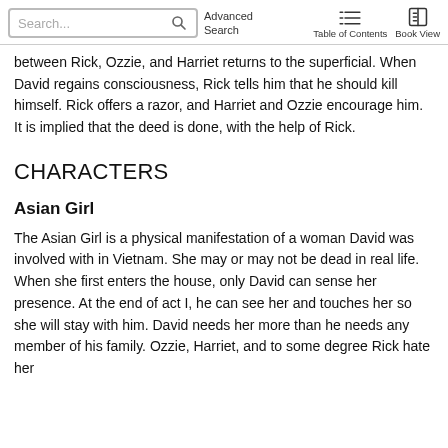Search... Advanced Search  Table of Contents  Book View
between Rick, Ozzie, and Harriet returns to the superficial. When David regains consciousness, Rick tells him that he should kill himself. Rick offers a razor, and Harriet and Ozzie encourage him. It is implied that the deed is done, with the help of Rick.
CHARACTERS
Asian Girl
The Asian Girl is a physical manifestation of a woman David was involved with in Vietnam. She may or may not be dead in real life. When she first enters the house, only David can sense her presence. At the end of act I, he can see her and touches her so she will stay with him. David needs her more than he needs any member of his family. Ozzie, Harriet, and to some degree Rick hate her